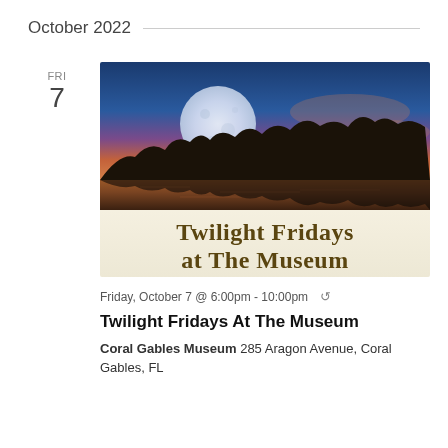October 2022
FRI
7
[Figure (photo): Twilight Fridays at The Museum event poster showing a full moon rising over a lake at sunset with silhouetted trees, dramatic orange and purple sky, with text 'Twilight Fridays at The Museum' in large golden-brown lettering on a cream background at the bottom.]
Friday, October 7 @ 6:00pm - 10:00pm ↺
Twilight Fridays At The Museum
Coral Gables Museum 285 Aragon Avenue, Coral Gables, FL